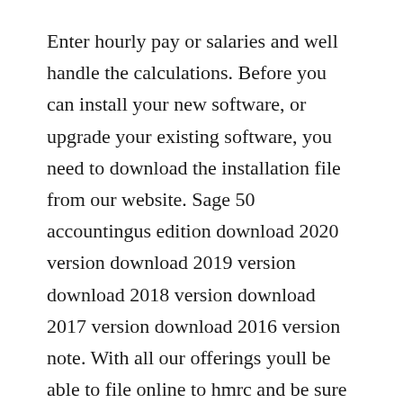Enter hourly pay or salaries and well handle the calculations. Before you can install your new software, or upgrade your existing software, you need to download the installation file from our website. Sage 50 accountingus edition download 2020 version download 2019 version download 2018 version download 2017 version download 2016 version note. With all our offerings youll be able to file online to hmrc and be sure that you are meeting all current legislation guidelines. Peachtree sage 50 payroll software